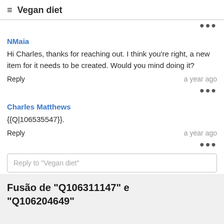≡ Vegan diet
NMaia
Hi Charles, thanks for reaching out. I think you're right, a new item for it needs to be created. Would you mind doing it?
Reply   a year ago
Charles Matthews
{{Q|106535547}}.
Reply   a year ago
Reply to "Vegan diet"
Fusão de "Q106311147" e "Q106204649"